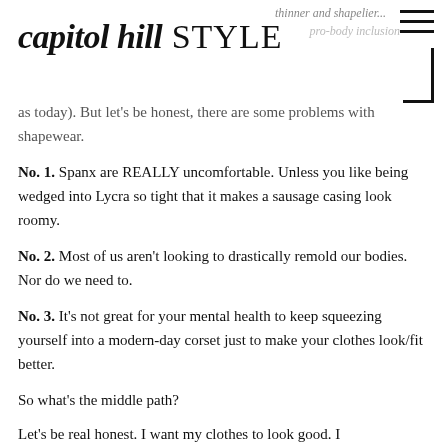capitol hill STYLE
as today). But let's be honest, there are some problems with shapewear.
No. 1. Spanx are REALLY uncomfortable. Unless you like being wedged into Lycra so tight that it makes a sausage casing look roomy.
No. 2. Most of us aren't looking to drastically remold our bodies. Nor do we need to.
No. 3. It's not great for your mental health to keep squeezing yourself into a modern-day corset just to make your clothes look/fit better.
So what's the middle path?
Let's be real honest. I want my clothes to look good. I